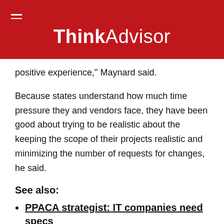ThinkAdvisor
positive experience," Maynard said.
Because states understand how much time pressure they and vendors face, they have been good about trying to be realistic about the keeping the scope of their projects realistic and minimizing the number of requests for changes, he said.
See also:
PPACA strategist: IT companies need specs
CCIIO posts exchange progress update, funding guidance
On the Third Hand: Time